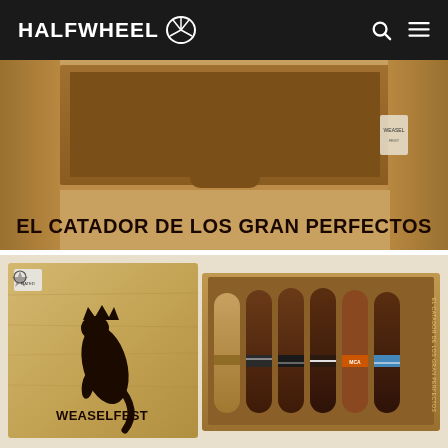HALFWHEEL
[Figure (photo): Wooden cigar box (top view, open) with bold text on the front reading 'EL CATADOR DE LOS GRAN PERFECTOS' branded/burned into the wood.]
[Figure (photo): Open wooden cigar box showing the Weaselfest logo (a weasel with a crown) burned into the lid on the left, and six torpedo/perfectos-shaped cigars arranged in the right compartment with colored bands.]